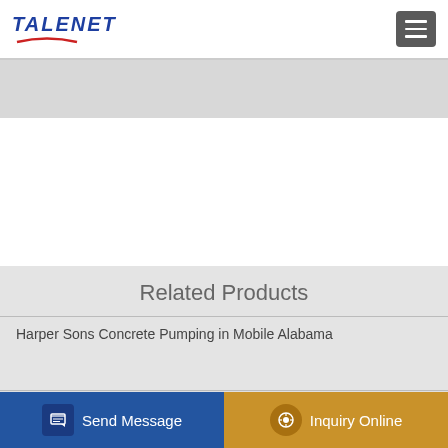TALENET
Related Products
Harper Sons Concrete Pumping in Mobile Alabama
large mixer for concrete batching plant
low investment dry mortar mixer exporter in stung treng
10m3 Truck-Mounted Mixer
Send Message
Inquiry Online